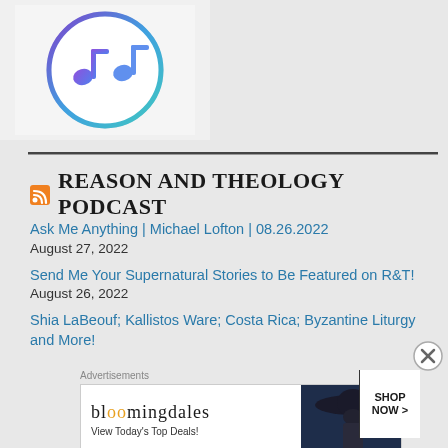[Figure (logo): Circular podcast app logo with musical note icons in purple and blue gradient on white/grey background]
REASON AND THEOLOGY PODCAST
Ask Me Anything | Michael Lofton | 08.26.2022
August 27, 2022
Send Me Your Supernatural Stories to Be Featured on R&T!
August 26, 2022
Shia LaBeouf; Kallistos Ware; Costa Rica; Byzantine Liturgy and More!
[Figure (screenshot): Bloomingdale's advertisement banner: 'bloomingdales - View Today's Top Deals! SHOP NOW >' with woman in large hat on dark blue background]